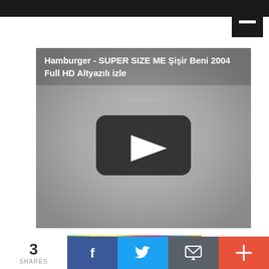[Figure (screenshot): Top navigation bar, dark background]
[Figure (screenshot): YouTube-style video thumbnail with title 'Hamburger - SUPER SIZE ME Şişir Beni 2004 Full HD Altyazılı izle' and play button overlay on gray background]
[Figure (screenshot): Colorful image thumbnail partially visible at bottom]
3
SHARES